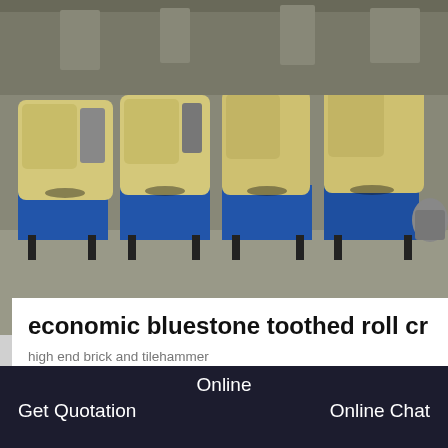[Figure (photo): Industrial photograph showing multiple yellow toothed roll crusher machines mounted on blue metal frames in a factory/warehouse setting.]
economic bluestone toothed roll cr
high end brick and tilehammer crusherpriceinSurabaya. high end brick and
GET PRICE
[Figure (photo): Photo of large industrial toothed roll crusher rollers with red and gray colored cylindrical rolls in a bright industrial facility.]
Online
Get Quotation    Online Chat